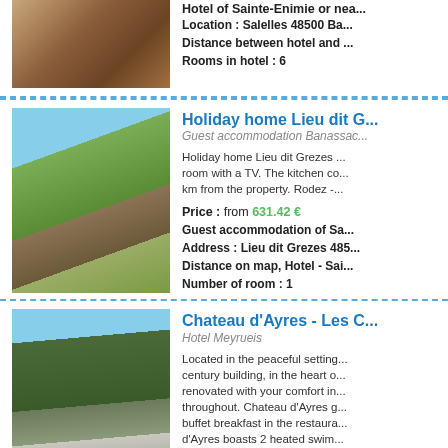[Figure (photo): Photo of hotel room or dining area with chairs and table]
Hotel of Sainte-Enimie or ne...
Location : Salelles 48500 Ba...
Distance between hotel and ...
Rooms in hotel : 6
[Figure (photo): Exterior photo of Holiday home Lieu dit Grezes, a stone country house with green lawn and trees]
Holiday home Lieu dit G...
Guest accommodation Banassac...
Holiday home Lieu dit Grezes ... room with a TV. The kitchen co... km from the property. Rodez -...
Price : from 631.42 €
Guest accommodation of Sa...
Address : Lieu dit Grezes 485...
Distance on map, Hotel - Sai...
Number of room : 1
[Figure (photo): Exterior photo of Chateau d'Ayres, a large stone ivy-covered chateau building with trees]
Chateau d'Ayres - Les C...
Hotel Meyrueis
Located in the peaceful setting... century building, in the heart o... renovated with your comfort in... throughout. Chateau d'Ayres g... buffet breakfast in the restaura... d'Ayres boasts 2 heated swim... degrees. There is also a tennis... parking and easy access to the...
Prices : from 99.00 € to 227.0...
Hotel of Sainte-Enimie or nea...